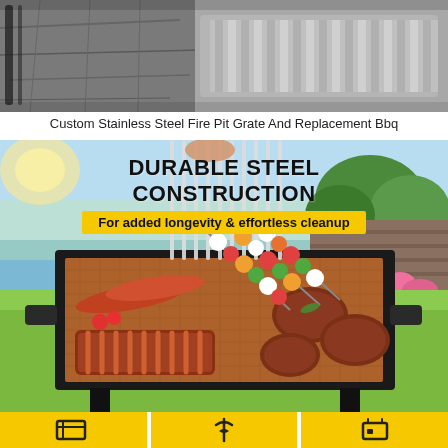[Figure (photo): Top banner photo showing stainless steel fire pit grate and foil BBQ tray on stone surface]
Custom Stainless Steel Fire Pit Grate And Replacement Bbq
[Figure (photo): Main product photo of black steel BBQ grill loaded with grilled meats, sausages, skewers and ribs on a copper mesh mat, set outdoors in a garden. Overlay text reads: DURABLE STEEL CONSTRUCTION / For added longevity & effortless cleanup]
[Figure (infographic): Bottom row of three yellow icon boxes showing product feature icons]